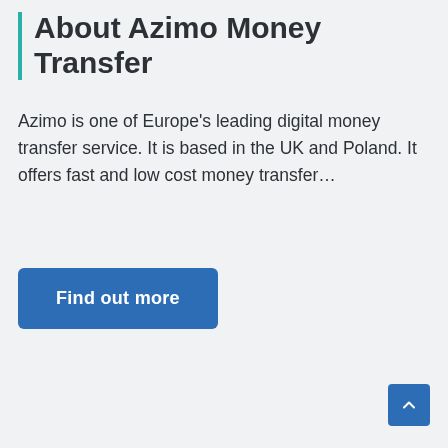About Azimo Money Transfer
Azimo is one of Europe's leading digital money transfer service. It is based in the UK and Poland. It offers fast and low cost money transfer…
Find out more